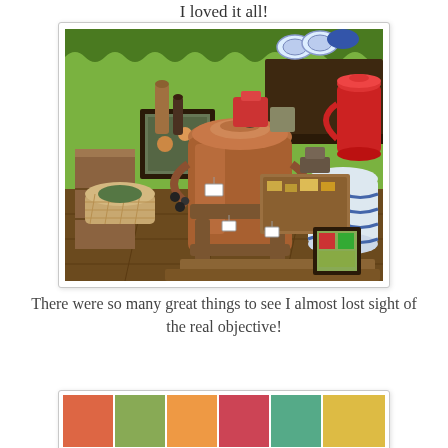I loved it all!
[Figure (photo): Photo of an antique shop interior showing a copper milk can, wooden step stool, blue and white ceramic crock, red enamel pitcher, wooden furniture, assorted small antiques and collectibles on shelves and floor, with bright green walls in the background.]
There were so many great things to see I almost lost sight of the real objective!
[Figure (photo): Partial view of another antique shop display, showing colorful items.]